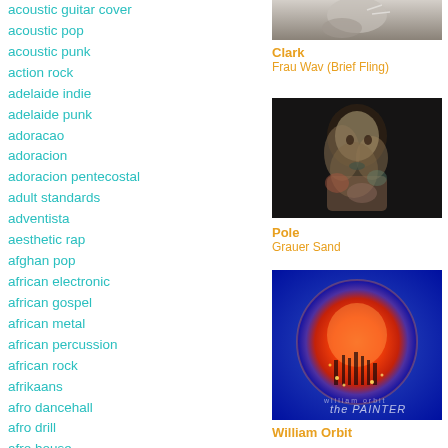acoustic guitar cover
acoustic pop
acoustic punk
action rock
adelaide indie
adelaide punk
adoracao
adoracion
adoracion pentecostal
adult standards
adventista
aesthetic rap
afghan pop
african electronic
african gospel
african metal
african percussion
african rock
afrikaans
afro dancehall
afro drill
afro house
afro r&b
afro soul
afrobeat
[Figure (photo): Album cover for Clark - Frau Wav (Brief Fling), grayscale photo]
Clark
Frau Wav (Brief Fling)
[Figure (photo): Album cover for Pole - Grauer Sand, abstract colorful figure]
Pole
Grauer Sand
[Figure (photo): Album cover for William Orbit - The Painter, glowing orange circle on blue background]
William Orbit